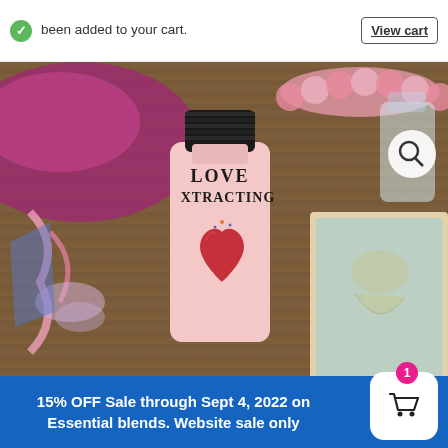been added to your cart.
View cart
[Figure (photo): A bottle of 'Love Attracting' essential oil blend with a pink label featuring a red heart design, surrounded by pink crystals, rose quartz beads, and a tarot card on a woven surface.]
15% OFF Sale through Sept 4, 2022 on Essential blends. Website sale only